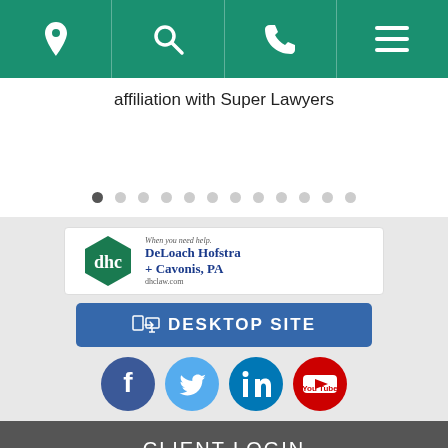[Figure (screenshot): Navigation bar with green background showing location pin, search, phone, and menu icons]
affiliation with Super Lawyers
[Figure (infographic): Carousel pagination dots, first dot active (dark), rest light gray]
[Figure (logo): DeLoach Hofstra + Cavonis, PA law firm logo with dhc initials and tagline 'When you need help. dhclaw.com']
[Figure (screenshot): Blue button reading DESKTOP SITE with mobile-to-desktop icon]
[Figure (screenshot): Row of social media icons: Facebook (dark blue), Twitter (light blue), LinkedIn (blue), YouTube (red)]
CLIENT LOGIN
[Figure (screenshot): Make Payment box with VISA, Mastercard, Discover, Amex credit card logos and LawPay branding]